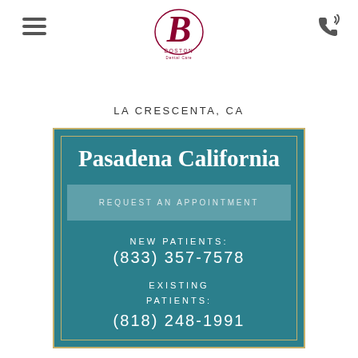LA CRESCENTA, CA
[Figure (logo): Boston Dental Care logo with stylized B and text]
Pasadena California
REQUEST AN APPOINTMENT
NEW PATIENTS:
(833) 357-7578
EXISTING PATIENTS:
(818) 248-1991